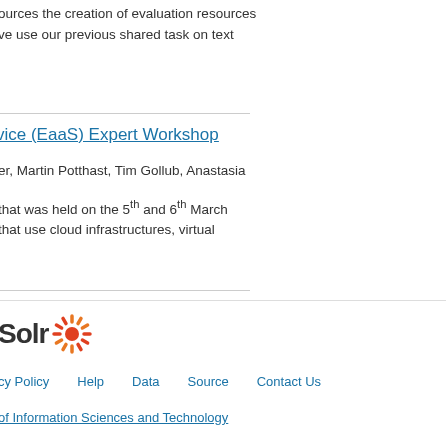ources the creation of evaluation resources
ve use our previous shared task on text
vice (EaaS) Expert Workshop
er, Martin Potthast, Tim Gollub, Anastasia
that was held on the 5th and 6th March
that use cloud infrastructures, virtual
[Figure (logo): Solr logo with red sunburst icon and text 'Solr']
cy Policy   Help   Data   Source   Contact Us
of Information Sciences and Technology